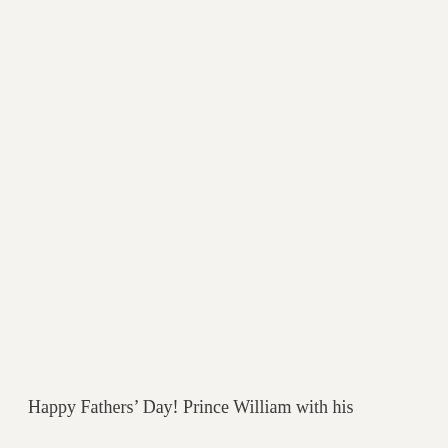Happy Fathers’ Day! Prince William with his